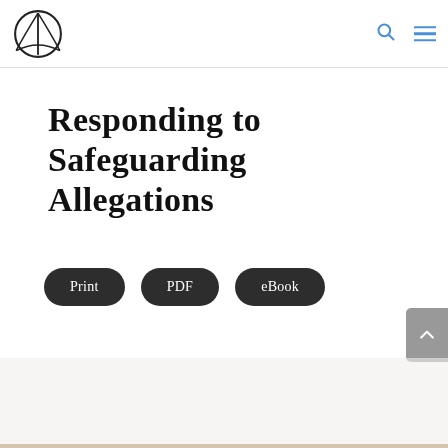Responding to Safeguarding Allegations
Print | PDF | eBook